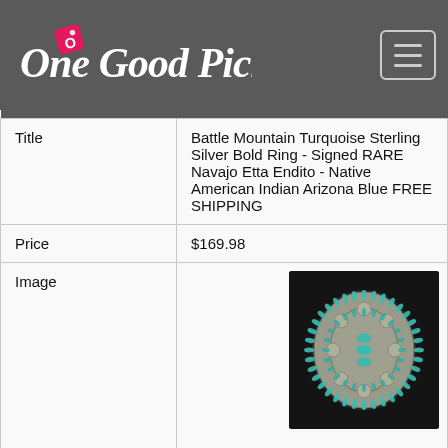[Figure (logo): One Good Pick logo in white cursive script on dark grey navigation bar, with a pink diamond/tag icon]
| Location | n/a |
| Title | Battle Mountain Turquoise Sterling Silver Bold Ring - Signed RARE Navajo Etta Endito - Native American Indian Arizona Blue FREE SHIPPING |
| Price | $169.98 |
| Image | [product image of turquoise sterling silver ring] |
| Source | eBay.com |
| Location | USA |